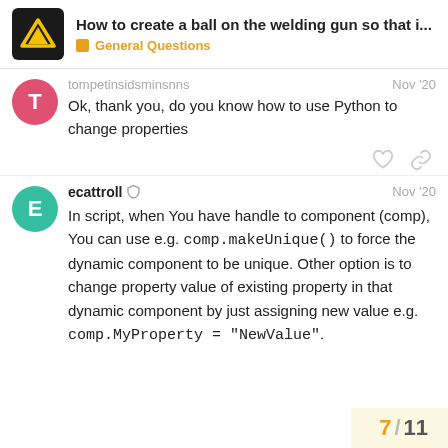How to create a ball on the welding gun so that i... | General Questions
tompetinsidsminsnsns · Nov '20 · Ok, thank you, do you know how to use Python to change properties
ecattroll · Nov '20 · In script, when You have handle to component (comp), You can use e.g. comp.makeUnique() to force the dynamic component to be unique. Other option is to change property value of existing property in that dynamic component by just assigning new value e.g. comp.MyProperty = "NewValue".
7 / 11